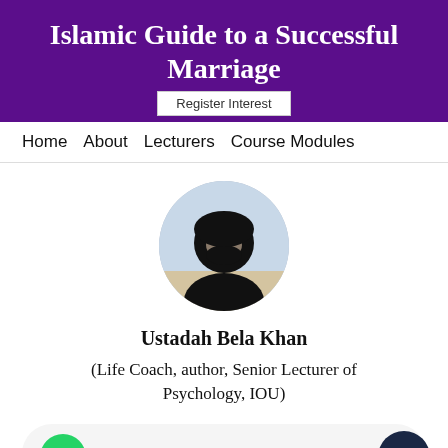Islamic Guide to a Successful Marriage
Register Interest
Home    About    Lecturers    Course Modules
[Figure (photo): Circular profile photo of a person wearing black niqab/hijab against outdoor background]
Ustadah Bela Khan
(Life Coach, author, Senior Lecturer of Psychology, IOU)
Need Help? Chat with us
AT A GLANCE